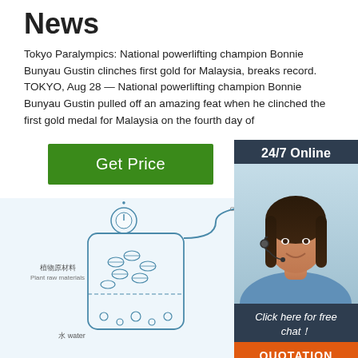News
Tokyo Paralympics: National powerlifting champion Bonnie Bunyau Gustin clinches first gold for Malaysia, breaks record. TOKYO, Aug 28 — National powerlifting champion Bonnie Bunyau Gustin pulled off an amazing feat when he clinched the first gold medal for Malaysia on the fourth day of
Get Price
[Figure (infographic): 24/7 Online support sidebar with woman wearing headset, 'Click here for free chat!' text, and orange QUOTATION button]
[Figure (engineering-diagram): Essential oil distillation diagram with labels in Chinese and English: 植物原材料 Plant raw materials, 水 water, 冷却管 Cooling pipe, 散热管 Radiator tube, 精油 essential oil, with TOP logo in orange]